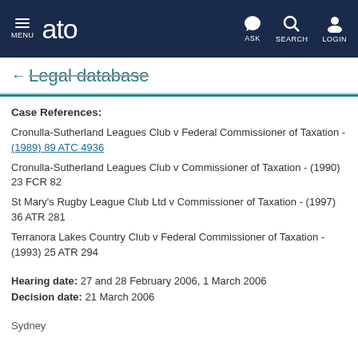ATO Legal database — MENU ASK SEARCH LOGIN
← Legal database
Case References:
Cronulla-Sutherland Leagues Club v Federal Commissioner of Taxation - (1989) 89 ATC 4936
Cronulla-Sutherland Leagues Club v Commissioner of Taxation - (1990) 23 FCR 82
St Mary's Rugby League Club Ltd v Commissioner of Taxation - (1997) 36 ATR 281
Terranora Lakes Country Club v Federal Commissioner of Taxation - (1993) 25 ATR 294
Hearing date: 27 and 28 February 2006, 1 March 2006
Decision date: 21 March 2006
Sydney